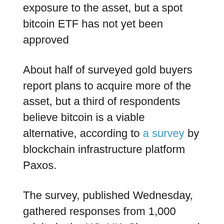exposure to the asset, but a spot bitcoin ETF has not yet been approved
About half of surveyed gold buyers report plans to acquire more of the asset, but a third of respondents believe bitcoin is a viable alternative, according to a survey by blockchain infrastructure platform Paxos.
The survey, published Wednesday, gathered responses from 1,000 adults in the US, UK, Singapore and Germany who have purchased some form of gold — ETFs, physical bars, gold coins or tokenized gold — in the past two years. The answers were collected in mid-April.